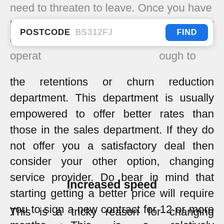need to threaten to leave. Once you have threatened to leave you will be put through to
[Figure (screenshot): A postcode search bar with label 'POSTCODE', placeholder text 'BS312FJ', and a blue 'FIND' button on the right.]
the retentions or churn reduction department. This department is usually empowered to offer better rates than those in the sales department. If they do not offer you a satisfactory deal then consider your other option, changing service provider. Do bear in mind that starting getting a better price will require you to sign a new contract for 12 or more months. This is a relatively straightforward process, simply enter your postcode in the search box above and we will find you the best deal in your area.
Increased speed
This is a tricky reason for changing broadband